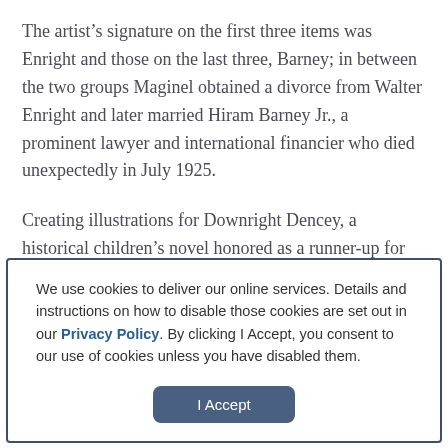The artist's signature on the first three items was Enright and those on the last three, Barney; in between the two groups Maginel obtained a divorce from Walter Enright and later married Hiram Barney Jr., a prominent lawyer and international financier who died unexpectedly in July 1925.
Creating illustrations for Downright Dencey, a historical children's novel honored as a runner-up for the Newbery Medal in 1928 and reissued again in 2003, provided a
We use cookies to deliver our online services. Details and instructions on how to disable those cookies are set out in our Privacy Policy. By clicking I Accept, you consent to our use of cookies unless you have disabled them.
I Accept